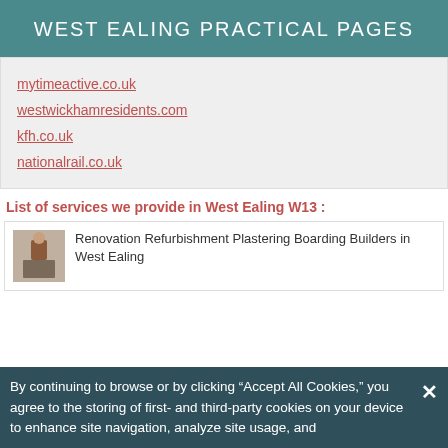WEST EALING PRACTICAL PAGES
mytimeactive.co.uk
westwickhamresidents.com
kfh.co.uk
nationalrail.co.uk
List of services we provide in West Ealing W13 :
Renovation Refurbishment Plastering Boarding Builders in West Ealing
By continuing to browse or by clicking “Accept All Cookies,” you agree to the storing of first- and third-party cookies on your device to enhance site navigation, analyze site usage, and